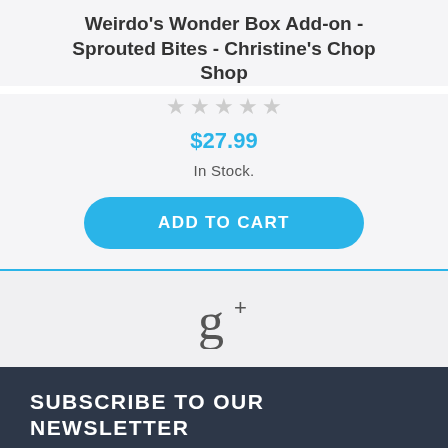Weirdo's Wonder Box Add-on - Sprouted Bites - Christine's Chop Shop
★★★★★
$27.99
In Stock.
ADD TO CART
[Figure (logo): Google+ (g+) icon]
SUBSCRIBE TO OUR NEWSLETTER
YOUR EMAIL ADDRESS